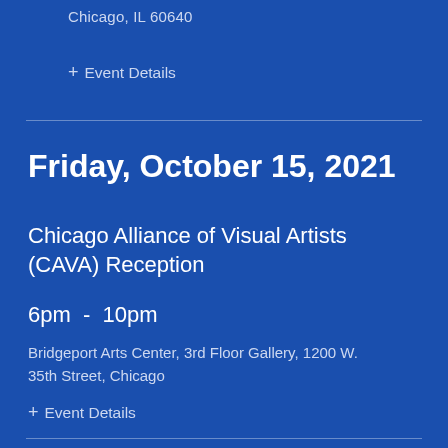Chicago, IL 60640
+ Event Details
Friday, October 15, 2021
Chicago Alliance of Visual Artists (CAVA) Reception
6pm - 10pm
Bridgeport Arts Center, 3rd Floor Gallery, 1200 W. 35th Street, Chicago
+ Event Details